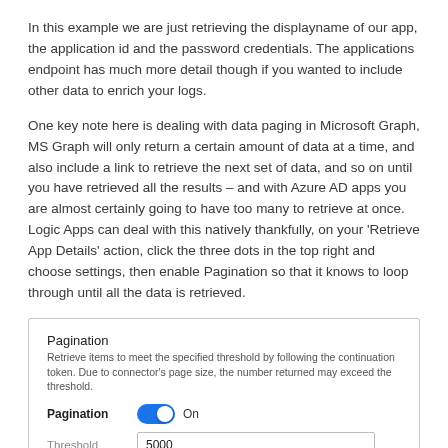In this example we are just retrieving the displayname of our app, the application id and the password credentials. The applications endpoint has much more detail though if you wanted to include other data to enrich your logs.
One key note here is dealing with data paging in Microsoft Graph, MS Graph will only return a certain amount of data at a time, and also include a link to retrieve the next set of data, and so on until you have retrieved all the results – and with Azure AD apps you are almost certainly going to have too many to retrieve at once. Logic Apps can deal with this natively thankfully, on your 'Retrieve App Details' action, click the three dots in the top right and choose settings, then enable Pagination so that it knows to loop through until all the data is retrieved.
[Figure (screenshot): Screenshot of a Pagination settings panel showing: Title 'Pagination', description text about continuation token, a toggle switch set to On, and a Threshold field with value 5000.]
The...